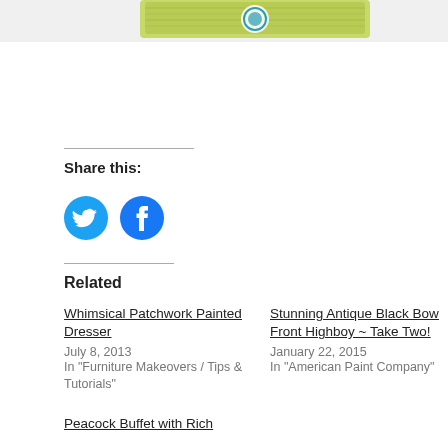[Figure (illustration): Partial image at top of page showing a green painted surface with a circular logo/label, cropped]
Share this:
[Figure (other): Twitter bird icon in blue circle]
[Figure (other): Facebook 'f' icon in blue circle]
Related
Whimsical Patchwork Painted Dresser
July 8, 2013
In "Furniture Makeovers / Tips & Tutorials"
Stunning Antique Black Bow Front Highboy ~ Take Two!
January 22, 2015
In "American Paint Company"
Peacock Buffet with Rich